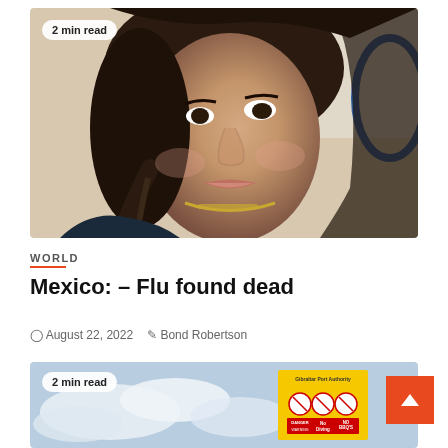[Figure (photo): Close-up selfie of a young woman with long dark hair in a braid, wearing a gold chain necklace. Badge overlay says '2 min read'.]
WORLD
Mexico: – Flu found dead
August 22, 2022   Bond Robertson
[Figure (photo): Sky with clouds and a yellow Gibraltar Port Authority sign showing No Diving and No BBQs warnings. Badge overlay says '2 min read'.]